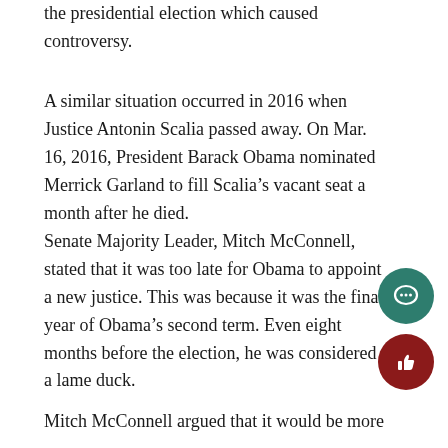the presidential election which caused controversy.
A similar situation occurred in 2016 when Justice Antonin Scalia passed away. On Mar. 16, 2016, President Barack Obama nominated Merrick Garland to fill Scalia’s vacant seat a month after he died.
Senate Majority Leader, Mitch McConnell, stated that it was too late for Obama to appoint a new justice. This was because it was the final year of Obama’s second term. Even eight months before the election, he was considered a lame duck.
Mitch McConnell argued that it would be more